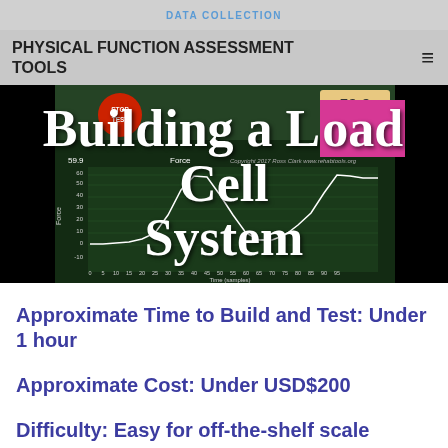DATA COLLECTION
PHYSICAL FUNCTION ASSESSMENT TOOLS
[Figure (screenshot): Screenshot of a data collection software interface showing a force vs time graph with a red STOP TEST button, a value display showing 59.9, Rate of Force label, and copyright 2017 Ross Clark www.rehabtools.org]
Building a Load Cell System
Approximate Time to Build and Test: Under 1 hour
Approximate Cost: Under USD$200
Difficulty: Easy for off-the-shelf scale